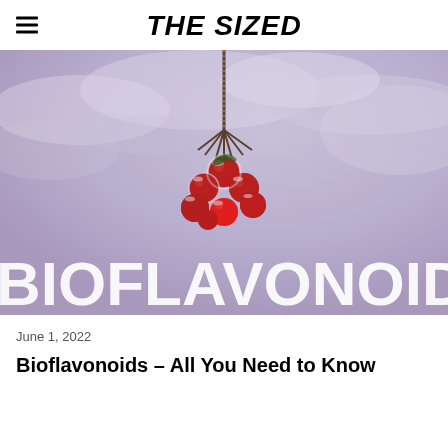THE SIZED
[Figure (photo): Frost-covered red berries hanging from a branch against a blurred purple-grey winter sky background, with large white bold text 'BIOFLAVONOIDS' overlaid at the bottom of the image.]
June 1, 2022
Bioflavonoids – All You Need to Know